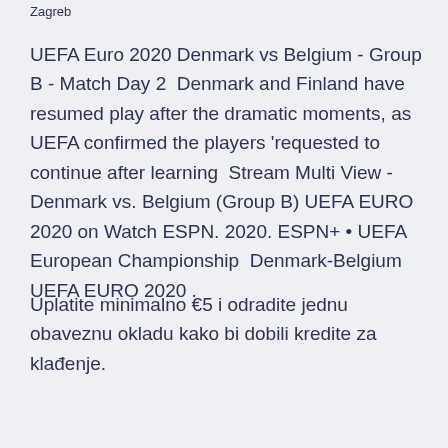Zagreb
UEFA Euro 2020 Denmark vs Belgium - Group B - Match Day 2  Denmark and Finland have resumed play after the dramatic moments, as UEFA confirmed the players 'requested to continue after learning  Stream Multi View - Denmark vs. Belgium (Group B) UEFA EURO 2020 on Watch ESPN. 2020. ESPN+ • UEFA European Championship  Denmark-Belgium UEFA EURO 2020 .
Uplatite minimalno €5 i odradite jednu obaveznu okladu kako bi dobili kredite za klađenje.